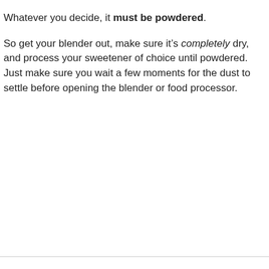Whatever you decide, it must be powdered.
So get your blender out, make sure it’s completely dry, and process your sweetener of choice until powdered. Just make sure you wait a few moments for the dust to settle before opening the blender or food processor.